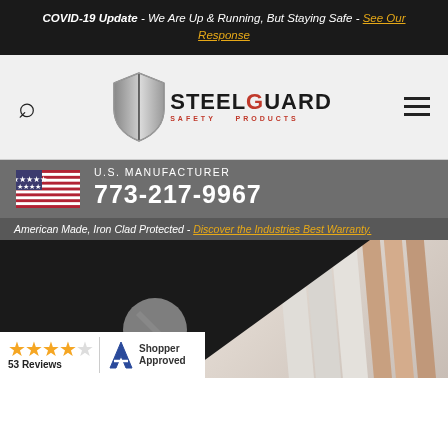COVID-19 Update - We Are Up & Running, But Staying Safe - See Our Response
[Figure (logo): SteelGuard Safety Products logo with shield icon and search/hamburger nav icons]
U.S. MANUFACTURER 773-217-9967
American Made, Iron Clad Protected - Discover the Industries Best Warranty.
[Figure (photo): Hero image showing metal guard products with black triangle overlay and Shopper Approved badge showing 53 Reviews with 4-star rating]